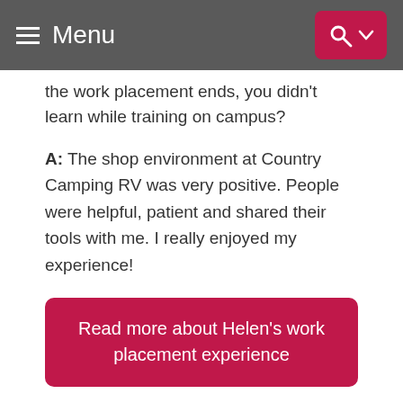Menu
the work placement ends, you didn't learn while training on campus?
A: The shop environment at Country Camping RV was very positive. People were helpful, patient and shared their tools with me. I really enjoyed my experience!
Read more about Helen's work placement experience
[Figure (other): Carousel navigation dots: three circles, first active (dark pink), second and third inactive (lighter pink)]